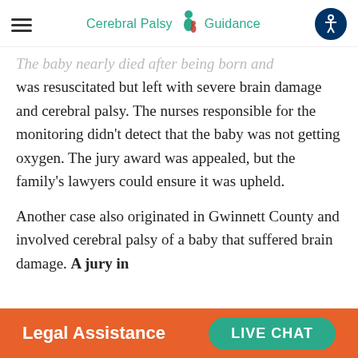Cerebral Palsy Guidance
The baby nearly died after being born and was resuscitated but left with severe brain damage and cerebral palsy. The nurses responsible for the monitoring didn't detect that the baby was not getting oxygen. The jury award was appealed, but the family's lawyers could ensure it was upheld.
Another case also originated in Gwinnett County and involved cerebral palsy of a baby that suffered brain damage. A jury in
Legal Assistance  LIVE CHAT